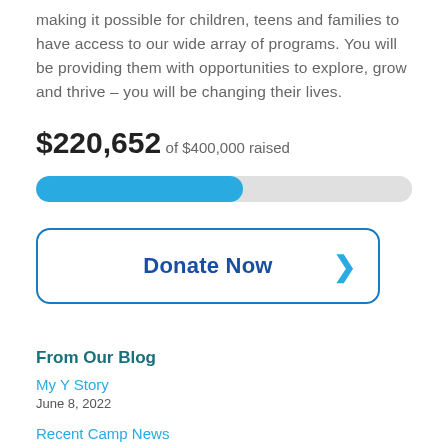making it possible for children, teens and families to have access to our wide array of programs. You will be providing them with opportunities to explore, grow and thrive – you will be changing their lives.
$220,652 of $400,000 raised
[Figure (other): Horizontal progress bar showing approximately 55% filled in blue, remainder in light gray, with rounded ends.]
[Figure (other): Donate Now button with rounded rectangle border, blue text, and a right-pointing chevron arrow on the right side.]
From Our Blog
My Y Story
June 8, 2022
Recent Camp News